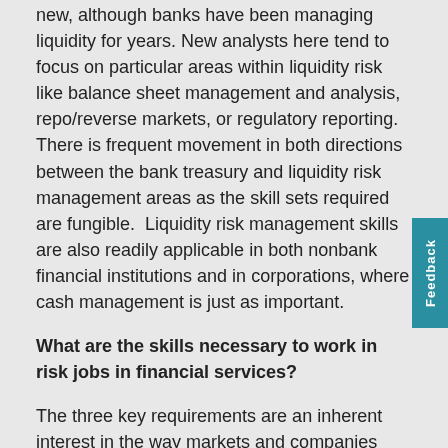new, although banks have been managing liquidity for years. New analysts here tend to focus on particular areas within liquidity risk like balance sheet management and analysis, repo/reverse markets, or regulatory reporting. There is frequent movement in both directions between the bank treasury and liquidity risk management areas as the skill sets required are fungible. Liquidity risk management skills are also readily applicable in both nonbank financial institutions and in corporations, where cash management is just as important.
What are the skills necessary to work in risk jobs in financial services?
The three key requirements are an inherent interest in the way markets and companies work, an appreciation of the importance of process, and a core level of quantitative competency. While many are attracted to the financial rewards of a career on finance, the primary requirement is a curiosity about companies, products and markets. Yo...